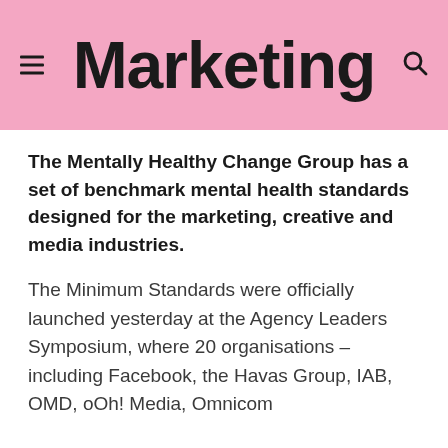Marketing
The Mentally Healthy Change Group has a set of benchmark mental health standards designed for the marketing, creative and media industries.
The Minimum Standards were officially launched yesterday at the Agency Leaders Symposium, where 20 organisations – including Facebook, the Havas Group, IAB, OMD, oOh! Media, Omnicom